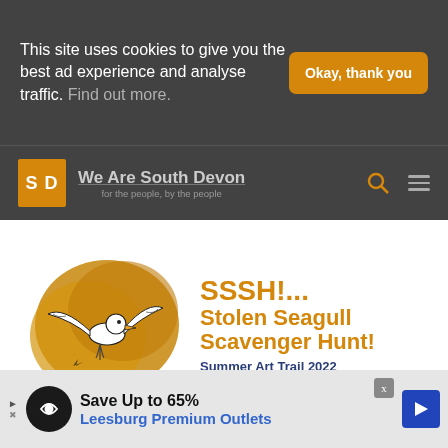This site uses cookies to give you the best ad experience and analyse traffic. Find out more.
Okay, thank you
[Figure (logo): We Are South Devon website logo with SD orange square icon and site name with tagline 'for the people, by the people']
[Figure (illustration): SSSH!... Stolen Seagull Scavenger Hunt! Summer Art Trail 2022 advertisement with seagull illustration on gold background]
[Figure (logo): Tonic Creatives banner with Facebook Find us on Facebook link]
[Figure (infographic): Advertisement: Save Up to 65% Leesburg Premium Outlets]